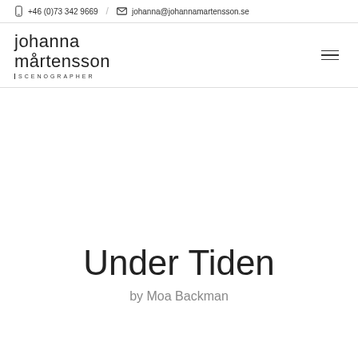+46 (0)73 342 9669 / johanna@johannamartensson.se
johanna mårtensson SCENOGRAPHER
Under Tiden
by Moa Backman